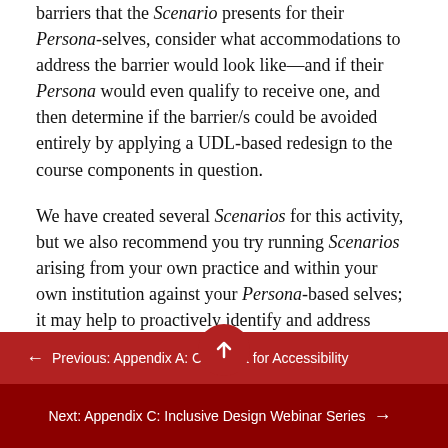barriers that the Scenario presents for their Persona-selves, consider what accommodations to address the barrier would look like—and if their Persona would even qualify to receive one, and then determine if the barrier/s could be avoided entirely by applying a UDL-based redesign to the course components in question.
We have created several Scenarios for this activity, but we also recommend you try running Scenarios arising from your own practice and within your own institution against your Persona-based selves; it may help to proactively identify and address barriers before they affect your students.
← Previous: Appendix A: Checklist for Accessibility
Next: Appendix C: Inclusive Design Webinar Series →